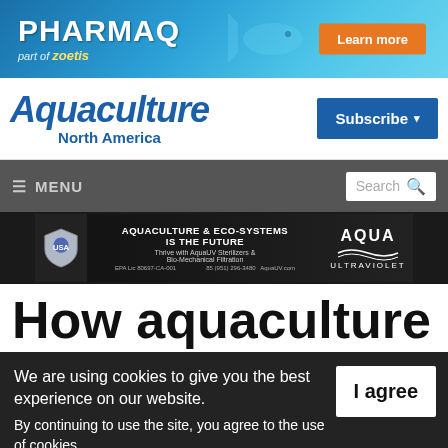[Figure (advertisement): PHARMAQ part of Zoetis banner ad with Learn more button, blue ocean background with fish]
[Figure (logo): Aquaculture North America logo in bold blue italic text with Subscribe dropdown button]
[Figure (screenshot): Navigation bar with hamburger MENU on left and Search box on right, dark grey background]
[Figure (advertisement): Aqua Ultraviolet banner ad: AQUACULTURE & ECO-SYSTEMS IS THE FUTURE, Thrive with AquaUV Sterilizers & Bio-Mechanical Filtration]
How aquaculture
We are using cookies to give you the best experience on our website.
By continuing to use the site, you agree to the use of cookies.
To find out more, read our privacy policy.